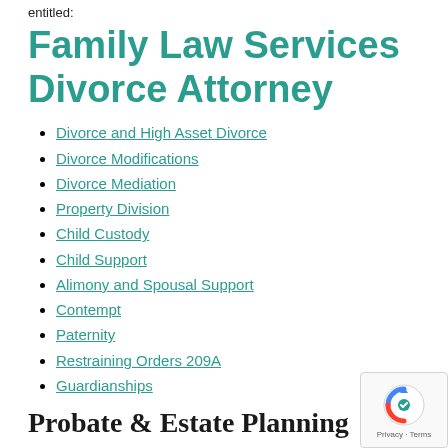entitled:
Family Law Services Divorce Attorney
Divorce and High Asset Divorce
Divorce Modifications
Divorce Mediation
Property Division
Child Custody
Child Support
Alimony and Spousal Support
Contempt
Paternity
Restraining Orders 209A
Guardianships
Probate & Estate Planning
Probate Law and Estate Planning covers a wide